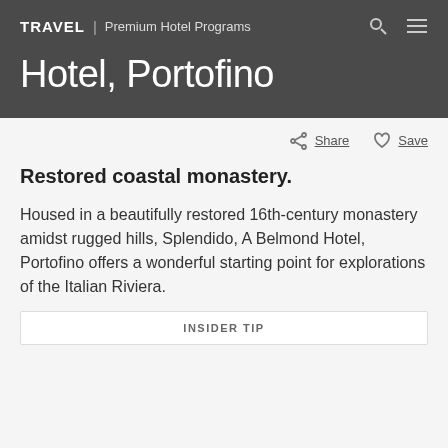TRAVEL | Premium Hotel Programs
Hotel, Portofino
Share   Save
Restored coastal monastery.
Housed in a beautifully restored 16th-century monastery amidst rugged hills, Splendido, A Belmond Hotel, Portofino offers a wonderful starting point for explorations of the Italian Riviera.
INSIDER TIP